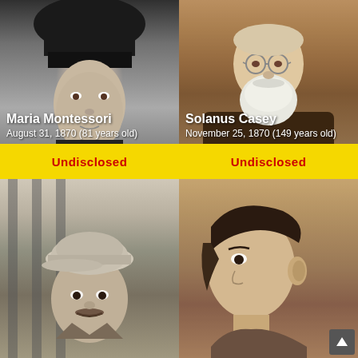[Figure (photo): Black and white photo of Maria Montessori with name overlay 'Maria Montessori', date 'August 31, 1870 (81 years old)', and yellow 'Undisclosed' badge]
[Figure (photo): Sepia/color photo of Solanus Casey (elderly bearded man in brown robe) with name overlay 'Solanus Casey', date 'November 25, 1870 (149 years old)', and yellow 'Undisclosed' badge]
[Figure (photo): Black and white photo of a man wearing a flat cap, bottom-left quadrant, no text overlay visible]
[Figure (photo): Sepia photo of a woman's head/hair from the side, bottom-right quadrant, with a scroll-to-top arrow button in lower right corner]